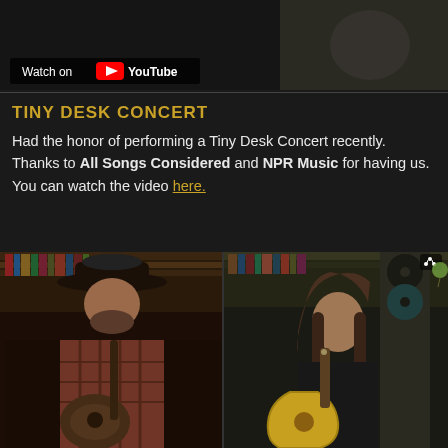[Figure (photo): Video thumbnail showing person with 'Watch on YouTube' badge overlay]
TINY DESK CONCERT
Had the honor of performing a Tiny Desk Concert recently. Thanks to All Songs Considered and NPR Music for having us. You can watch the video here.
[Figure (photo): Two musicians performing at NPR Tiny Desk Concert. Left: man in cowboy hat and plaid shirt playing guitar. Right: man with long hair in black shirt playing yellow guitar, surrounded by bookshelves.]